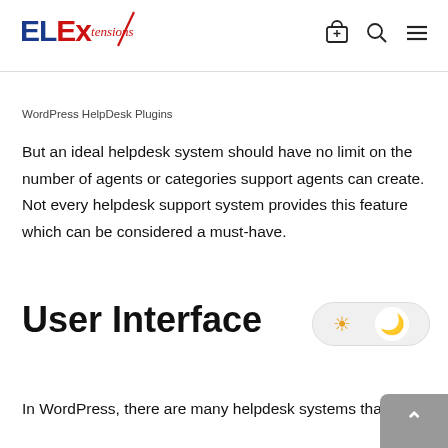ELExtensions — navigation header with cart, search, and menu icons
WordPress HelpDesk Plugins
But an ideal helpdesk system should have no limit on the number of agents or categories support agents can create. Not every helpdesk support system provides this feature which can be considered a must-have.
User Interface
In WordPress, there are many helpdesk systems that